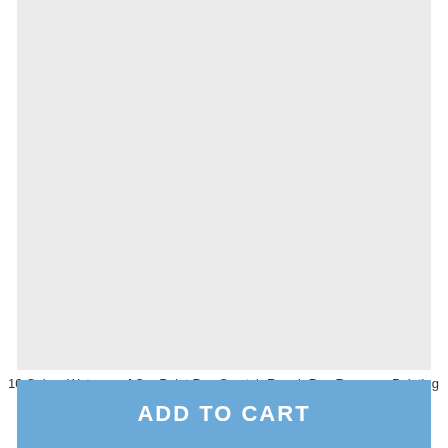[Figure (other): Large light gray placeholder image area for product photo]
10 Colors Waterproof Car Paint Pen Scratch Repair Pen Remover Painting
ADD TO CART